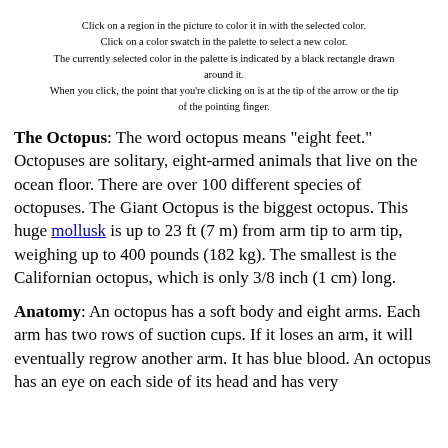Click on a region in the picture to color it in with the selected color.
Click on a color swatch in the palette to select a new color.
The currently selected color in the palette is indicated by a black rectangle drawn around it.
When you click, the point that you're clicking on is at the tip of the arrow or the tip of the pointing finger.
The Octopus: The word octopus means "eight feet." Octopuses are solitary, eight-armed animals that live on the ocean floor. There are over 100 different species of octopuses. The Giant Octopus is the biggest octopus. This huge mollusk is up to 23 ft (7 m) from arm tip to arm tip, weighing up to 400 pounds (182 kg). The smallest is the Californian octopus, which is only 3/8 inch (1 cm) long.
Anatomy: An octopus has a soft body and eight arms. Each arm has two rows of suction cups. If it loses an arm, it will eventually regrow another arm. It has blue blood. An octopus has an eye on each side of its head and has very